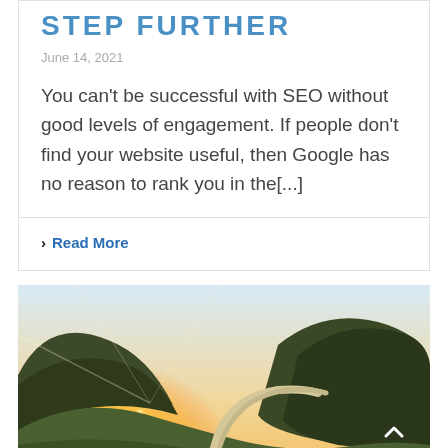STEP FURTHER
June 14, 2021
You can't be successful with SEO without good levels of engagement. If people don't find your website useful, then Google has no reason to rank you in the[...]
Read More
[Figure (photo): Scenic mountain road at sunset with winding path through green hills and bright sun flare on the horizon]